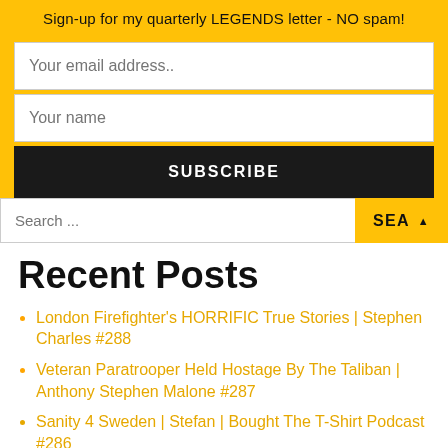Sign-up for my quarterly LEGENDS letter - NO spam!
Your email address..
Your name
SUBSCRIBE
Search ...
SEA ▲
Recent Posts
London Firefighter's HORRIFIC True Stories | Stephen Charles #288
Veteran Paratrooper Held Hostage By The Taliban | Anthony Stephen Malone #287
Sanity 4 Sweden | Stefan | Bought The T-Shirt Podcast #286